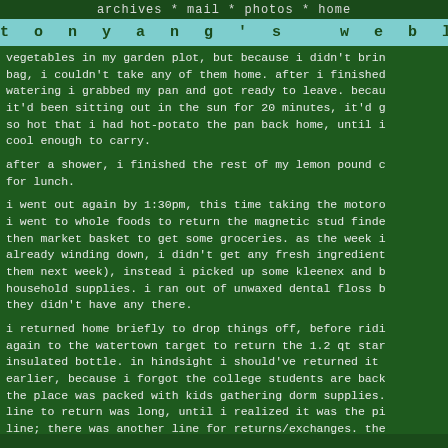archives * mail * photos * home
tony ang's weblog
vegetables in my garden plot, but because i didn't brin bag, i couldn't take any of them home. after i finished watering i grabbed my pan and got ready to leave. becau it'd been sitting out in the sun for 20 minutes, it'd g so hot that i had hot-potato the pan back home, until i cool enough to carry.
after a shower, i finished the rest of my lemon pound c for lunch.
i went out again by 1:30pm, this time taking the motoro i went to whole foods to return the magnetic stud finde then market basket to get some groceries. as the week i already winding down, i didn't get any fresh ingredient them next week), instead i picked up some kleenex and b household supplies. i ran out of unwaxed dental floss b they didn't have any there.
i returned home briefly to drop things off, before ridi again to the watertown target to return the 1.2 qt star insulated bottle. in hindsight i should've returned it earlier, because i forgot the college students are back the place was packed with kids gathering dorm supplies. line to return was long, until i realized it was the pi line; there was another line for returns/exchanges. the people who at the customer service department are not h at all, making customers wait longer than usual, disapp for long stretches at a time. when it was finally my t